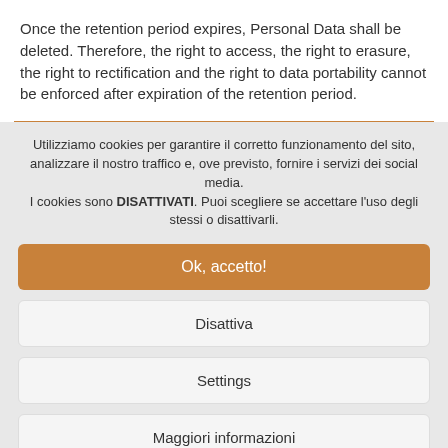Once the retention period expires, Personal Data shall be deleted. Therefore, the right to access, the right to erasure, the right to rectification and the right to data portability cannot be enforced after expiration of the retention period.
Utilizziamo cookies per garantire il corretto funzionamento del sito, analizzare il nostro traffico e, ove previsto, fornire i servizi dei social media.
I cookies sono DISATTIVATI. Puoi scegliere se accettare l'uso degli stessi o disattivarli.
Ok, accetto!
Disattiva
Settings
Maggiori informazioni